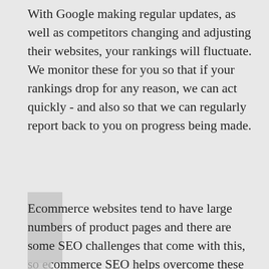With Google making regular updates, as well as competitors changing and adjusting their websites, your rankings will fluctuate. We monitor these for you so that if your rankings drop for any reason, we can act quickly - and also so that we can regularly report back to you on progress being made.
ECOMMERCE SEO
Ecommerce websites tend to have large numbers of product pages and there are some SEO challenges that come with this, so ecommerce SEO helps overcome these and ensure you get found for searches for your products ad your brands.